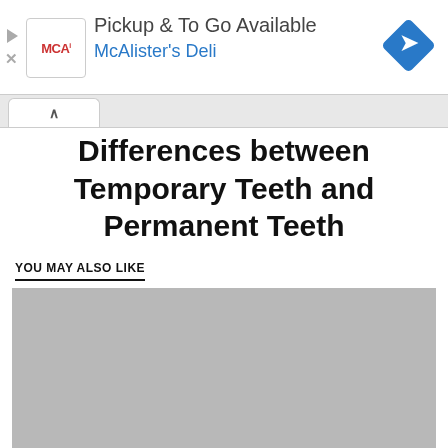[Figure (screenshot): Advertisement banner for McAlister's Deli — Pickup & To Go Available. Contains MCA logo on left, text in center, and blue diamond navigation icon on right. Play and close control buttons on far left edge.]
Differences between Temporary Teeth and Permanent Teeth
YOU MAY ALSO LIKE
[Figure (photo): Gray placeholder image below the 'You May Also Like' section header]